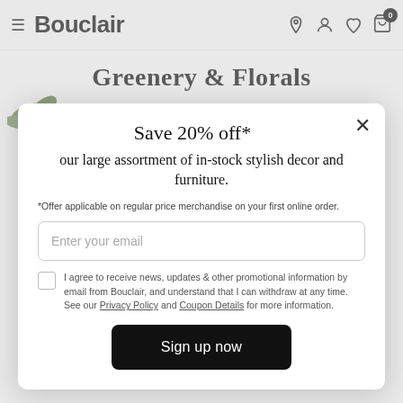Bouclair
Greenery & Florals
Save 20% off*
our large assortment of in-stock stylish decor and furniture.
*Offer applicable on regular price merchandise on your first online order.
Enter your email
I agree to receive news, updates & other promotional information by email from Bouclair, and understand that I can withdraw at any time. See our Privacy Policy and Coupon Details for more information.
Sign up now